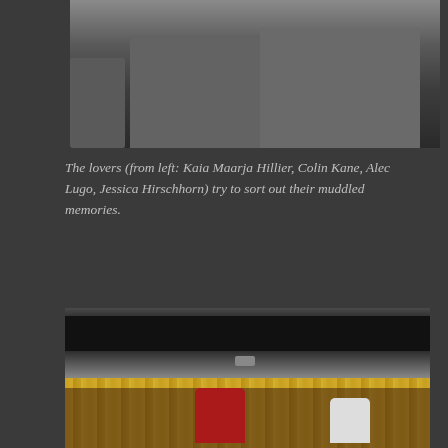[Figure (photo): Top partial photo showing theater seats/chairs from above, partially cropped at top edge]
The lovers (from left: Kaia Maarja Hillier, Colin Kane, Alec Lugo, Jessica Hirschhorn) try to sort out their muddled memories.
[Figure (photo): Theater performance photo showing performers on stage in front of yellow curtains, with audience members in foreground. A performer in red costume with headpiece is prominent center stage.]